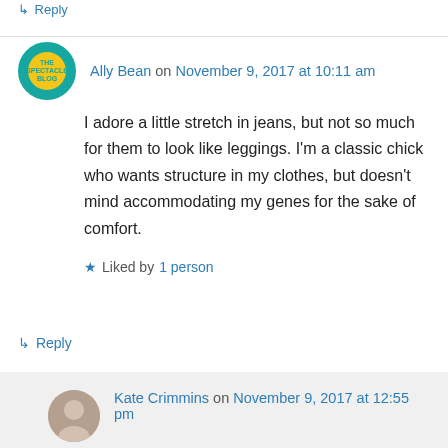↳ Reply
Ally Bean on November 9, 2017 at 10:11 am
I adore a little stretch in jeans, but not so much for them to look like leggings. I'm a classic chick who wants structure in my clothes, but doesn't mind accommodating my genes for the sake of comfort.
★ Liked by 1 person
↳ Reply
Kate Crimmins on November 9, 2017 at 12:55 pm
I'm like you. I have a pair of black